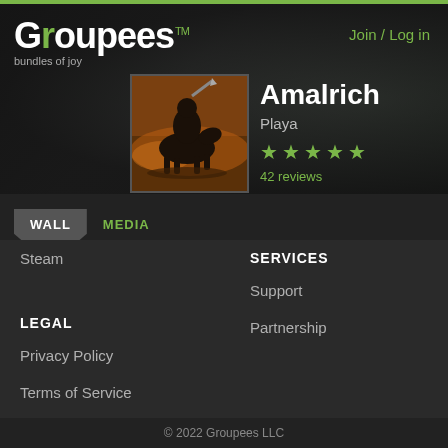Groupees™ — bundles of joy
Join / Log in
Amalrich
Playa
42 reviews
[Figure (illustration): Groupees website screenshot showing user profile for Amalrich with game artwork thumbnail of a warrior on horseback]
WALL   MEDIA
Steam
SERVICES
Support
Partnership
LEGAL
Privacy Policy
Terms of Service
© 2022 Groupees LLC